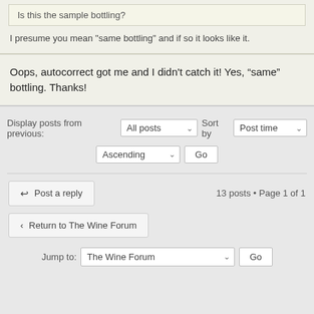Is this the sample bottling?
I presume you mean "same bottling" and if so it looks like it.
Oops, autocorrect got me and I didn't catch it! Yes, “same” bottling. Thanks!
Display posts from previous: All posts  Sort by  Post time
Ascending  Go
Post a reply   13 posts • Page 1 of 1
Return to The Wine Forum
Jump to:  The Wine Forum  Go